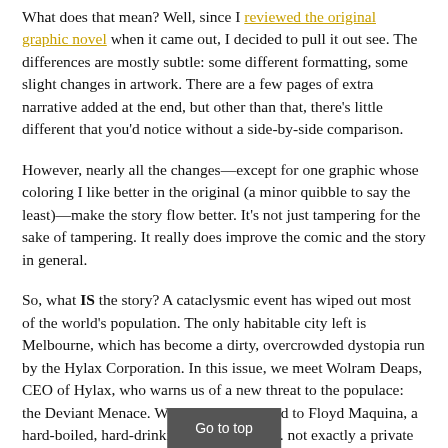What does that mean? Well, since I reviewed the original graphic novel when it came out, I decided to pull it out see. The differences are mostly subtle: some different formatting, some slight changes in artwork. There are a few pages of extra narrative added at the end, but other than that, there's little different that you'd notice without a side-by-side comparison.
However, nearly all the changes—except for one graphic whose coloring I like better in the original (a minor quibble to say the least)—make the story flow better. It's not just tampering for the sake of tampering. It really does improve the comic and the story in general.
So, what IS the story? A cataclysmic event has wiped out most of the world's population. The only habitable city left is Melbourne, which has become a dirty, overcrowded dystopia run by the Hylax Corporation. In this issue, we meet Wolram Deaps, CEO of Hylax, who warns us of a new threat to the populace: the Deviant Menace. We're also introduced to Floyd Maquina, a hard-boiled, hard-drinking type, who's . . . not exactly a private detective, but close enough, for our purposes.